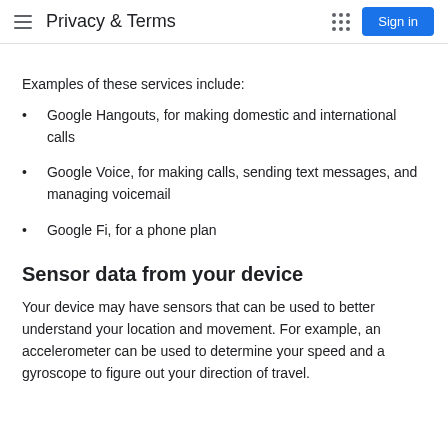Privacy & Terms
Examples of these services include:
Google Hangouts, for making domestic and international calls
Google Voice, for making calls, sending text messages, and managing voicemail
Google Fi, for a phone plan
Sensor data from your device
Your device may have sensors that can be used to better understand your location and movement. For example, an accelerometer can be used to determine your speed and a gyroscope to figure out your direction of travel.